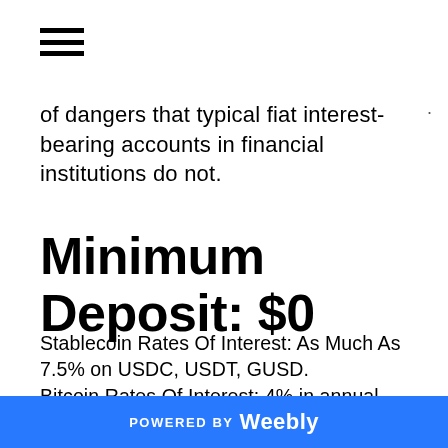[Figure (other): Hamburger menu icon (three horizontal lines)]
of dangers that typical fiat interest-bearing accounts in financial institutions do not.
Minimum Deposit: $0
Stablecoin Rates Of Interest: As Much As 7.5% on USDC, USDT, GUSD. Bitcoin Rates Of Interest: 4% in annual passion on deposits approximately.25 BTC, 1.5% on any BTC in between.25 as well as 5, and also 0.25% for 20 BTC as well as over. Ethereum Interest Rate: 4% approximately 5 ETH, 1.5% between 5 and also 50 ETH, and also 0.25% over that.
POWERED BY Weebly